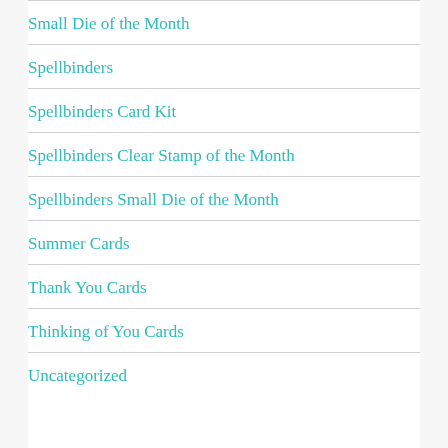Small Die of the Month
Spellbinders
Spellbinders Card Kit
Spellbinders Clear Stamp of the Month
Spellbinders Small Die of the Month
Summer Cards
Thank You Cards
Thinking of You Cards
Uncategorized